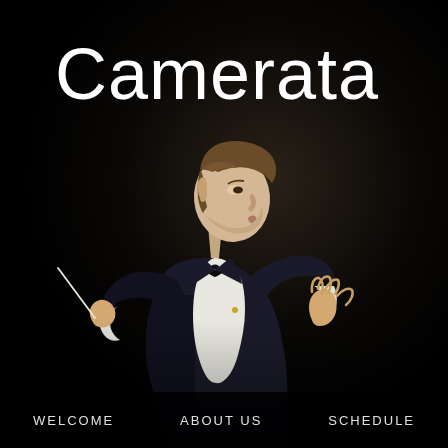[Figure (photo): A male orchestra conductor in a black tuxedo with bow tie, photographed against a dark background, arms outstretched — left hand holding a conductor's baton, right hand open and raised, mid-conducting motion, viewed from his left side profile.]
Camerata
WELCOME    ABOUT US    SCHEDULE